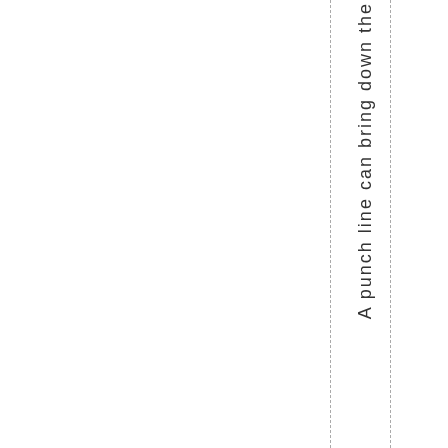A punch line can bring down the